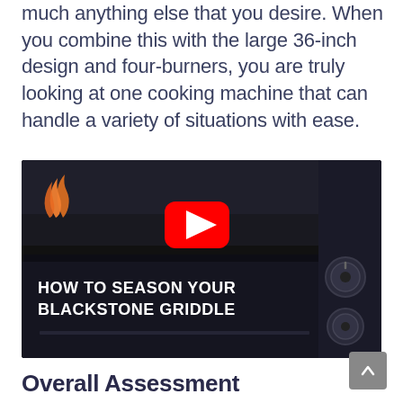much anything else that you desire. When you combine this with the large 36-inch design and four-burners, you are truly looking at one cooking machine that can handle a variety of situations with ease.
[Figure (screenshot): YouTube video thumbnail showing a Blackstone griddle with text 'HOW TO SEASON YOUR BLACKSTONE GRIDDLE' and a YouTube play button. The Blackstone flame logo is visible in the top-left corner.]
Overall Assessment